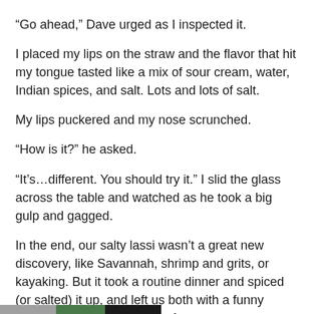“Go ahead,” Dave urged as I inspected it.
I placed my lips on the straw and the flavor that hit my tongue tasted like a mix of sour cream, water, Indian spices, and salt. Lots and lots of salt.
My lips puckered and my nose scrunched.
“How is it?” he asked.
“It’s…different. You should try it.” I slid the glass across the table and watched as he took a big gulp and gagged.
In the end, our salty lassi wasn’t a great new discovery, like Savannah, shrimp and grits, or kayaking. But it took a routine dinner and spiced (or salted) it up, and left us both with a funny memory that we won’t soon forget.
[Figure (photo): Partially visible strip at the bottom of the page showing a blurred horizontal image, appears to be a photo thumbnail.]